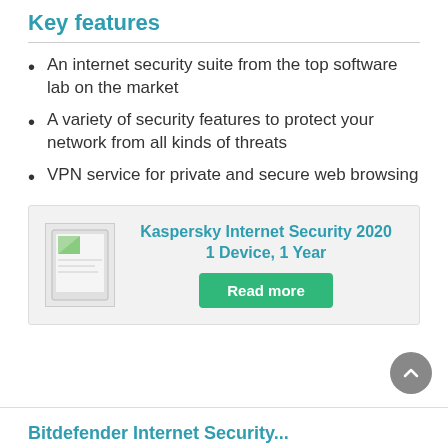Key features
An internet security suite from the top software lab on the market
A variety of security features to protect your network from all kinds of threats
VPN service for private and secure web browsing
[Figure (other): Product card for Kaspersky Internet Security 2020 1 Device, 1 Year with a document icon and a Read more button]
Bitdefender Internet Security...